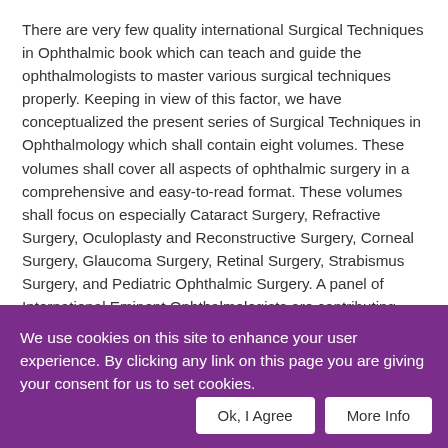There are very few quality international Surgical Techniques in Ophthalmic book which can teach and guide the ophthalmologists to master various surgical techniques properly. Keeping in view of this factor, we have conceptualized the present series of Surgical Techniques in Ophthalmology which shall contain eight volumes. These volumes shall cover all aspects of ophthalmic surgery in a comprehensive and easy-to-read format. These volumes shall focus on especially Cataract Surgery, Refractive Surgery, Oculoplasty and Reconstructive Surgery, Corneal Surgery, Glaucoma Surgery, Retinal Surgery, Strabismus Surgery, and Pediatric Ophthalmic Surgery. A panel of International Eminent Ophthalmologists are contributing chapters in these volumes for the benefit of ophthalmologists worldwide. The clinically significant topics
We use cookies on this site to enhance your user experience. By clicking any link on this page you are giving your consent for us to set cookies.